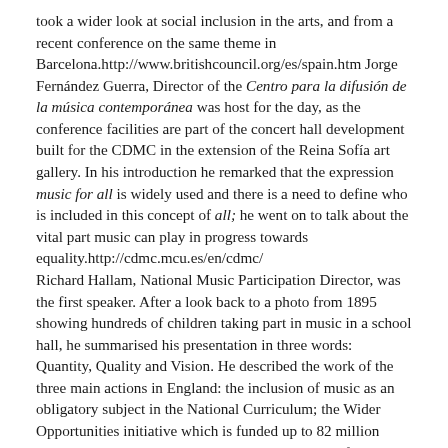took a wider look at social inclusion in the arts, and from a recent conference on the same theme in Barcelona.http://www.britishcouncil.org/es/spain.htm Jorge Fernández Guerra, Director of the Centro para la difusión de la música contemporánea was host for the day, as the conference facilities are part of the concert hall development built for the CDMC in the extension of the Reina Sofía art gallery. In his introduction he remarked that the expression music for all is widely used and there is a need to define who is included in this concept of all; he went on to talk about the vital part music can play in progress towards equality.http://cdmc.mcu.es/en/cdmc/ Richard Hallam, National Music Participation Director, was the first speaker. After a look back to a photo from 1895 showing hundreds of children taking part in music in a school hall, he summarised his presentation in three words: Quantity, Quality and Vision. He described the work of the three main actions in England: the inclusion of music as an obligatory subject in the National Curriculum; the Wider Opportunities initiative which is funded up to 82 million pounds per year, and the Sing Up! campaign, with funding up to 40 millions. For the Spanish listeners, the most striking part was certainly the explanation of the class teaching of instruments through Wider Opportunities, which was supported by a video excerpt. Over coffee my Spanish colleagues were interested to know whether classroom teachers were paid extra for participating, whether the teachers felt embarrassed at being beginners alongside their pupils, and how much other class teachers complained about the noise. There is considerable interest in hearing more about the Wider Opportunities provision.